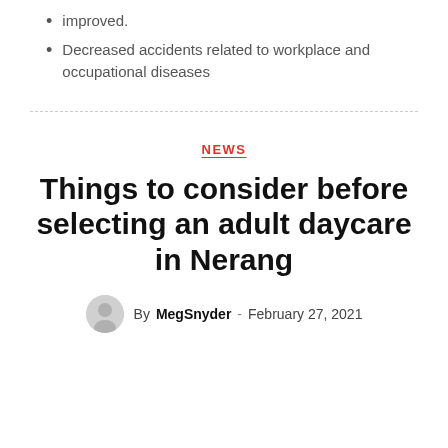improved.
Decreased accidents related to workplace and occupational diseases
NEWS
Things to consider before selecting an adult daycare in Nerang
By MegSnyder - February 27, 2021